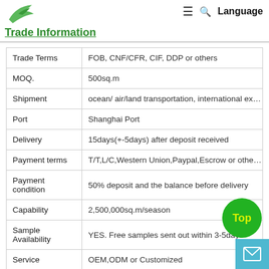Trade Information
| Field | Value |
| --- | --- |
| Trade Terms | FOB, CNF/CFR, CIF, DDP or others |
| MOQ. | 500sq.m |
| Shipment | ocean/ air/land transportation, international ex… |
| Port | Shanghai Port |
| Delivery | 15days(+-5days) after deposit received |
| Payment terms | T/T,L/C,Western Union,Paypal,Escrow or othe… |
| Payment condition | 50% deposit and the balance before delivery |
| Capability | 2,500,000sq.m/season |
| Sample Availability | YES. Free samples sent out within 3-5days |
| Service | OEM,ODM or Customized |